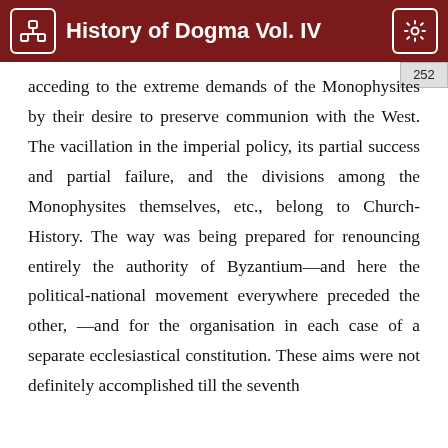History of Dogma Vol. IV
252
acceding to the extreme demands of the Monophysites by their desire to preserve communion with the West. The vacillation in the imperial policy, its partial success and partial failure, and the divisions among the Monophysites themselves, etc., belong to Church-History. The way was being prepared for renouncing entirely the authority of Byzantium—and here the political-national movement everywhere preceded the other, —and for the organisation in each case of a separate ecclesiastical constitution. These aims were not definitely accomplished till the seventh